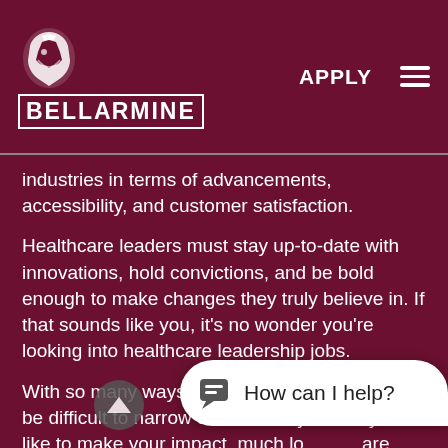BELLARMINE — APPLY
industries in terms of advancements, accessibility, and customer satisfaction.
Healthcare leaders must stay up-to-date with innovations, hold convictions, and be bold enough to make changes they truly believe in. If that sounds like you, it's no wonder you're looking into healthcare leadership jobs.
With so many ways to lead in healthcare, it can be difficult to narrow down exactly where you'd like to make your impact, much lo are plenty of paths to con healthcare leadership jobs in both the practitioner